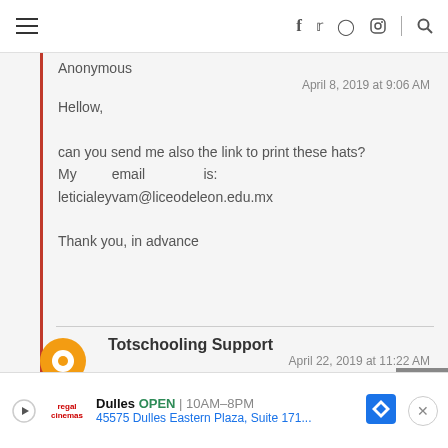Navigation bar with hamburger menu and social icons (f, Twitter, Pinterest, Instagram, search)
Anonymous
April 8, 2019 at 9:06 AM
Hellow,
can you send me also the link to print these hats?
My email is: leticialeyvam@liceodeleon.edu.mx
Thank you, in advance
Totschooling Support
April 22, 2019 at 11:22 AM
Hi,
this activity can be downloaded from the Subscriber's Page. If
Dulles OPEN | 10AM–8PM
45575 Dulles Eastern Plaza, Suite 171...